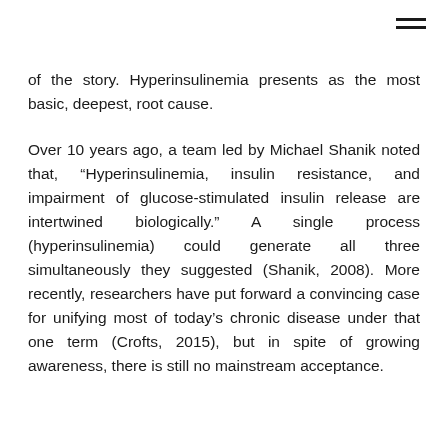of the story. Hyperinsulinemia presents as the most basic, deepest, root cause.
Over 10 years ago, a team led by Michael Shanik noted that, “Hyperinsulinemia, insulin resistance, and impairment of glucose-stimulated insulin release are intertwined biologically.” A single process (hyperinsulinemia) could generate all three simultaneously they suggested (Shanik, 2008). More recently, researchers have put forward a convincing case for unifying most of today’s chronic disease under that one term (Crofts, 2015), but in spite of growing awareness, there is still no mainstream acceptance.